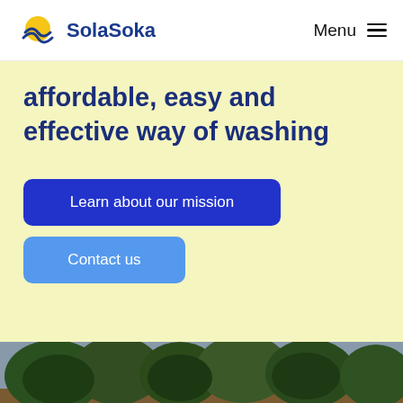SolaSoka — Menu
affordable, easy and effective way of washing
Learn about our mission
Contact us
[Figure (photo): Outdoor scene with trees and sky, partially visible at the bottom of the page]